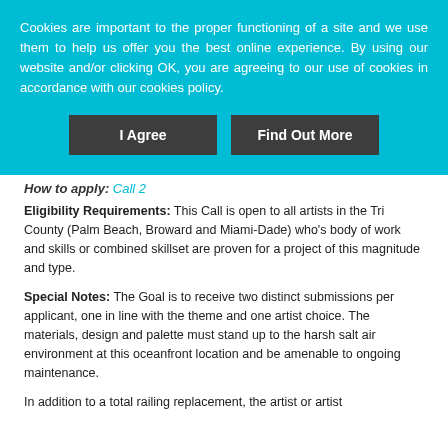Cookies are important to the proper functioning of a site and we use them to help us offer you the best online experience. By using our website and/or clicking OK, you are agreeing to our use of cookies in accordance with our cookies policy.
I Agree
Find Out More
How to apply: Call 2
Eligibility Requirements: This Call is open to all artists in the Tri County (Palm Beach, Broward and Miami-Dade) who's body of work and skills or combined skillset are proven for a project of this magnitude and type.
Special Notes: The Goal is to receive two distinct submissions per applicant, one in line with the theme and one artist choice. The materials, design and palette must stand up to the harsh salt air environment at this oceanfront location and be amenable to ongoing maintenance.
In addition to a total railing replacement, the artist or artist